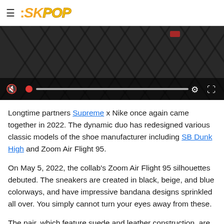≡ SKPOP
[Figure (screenshot): Video player showing a dark background with chain-link fence imagery. Controls bar at bottom with mute icon, red playhead dot, progress bar, settings gear icon, and fullscreen icon.]
Longtime partners Supreme x Nike once again came together in 2022. The dynamic duo has redesigned various classic models of the shoe manufacturer including SB Dunk High and Zoom Air Flight 95.
On May 5, 2022, the collab's Zoom Air Flight 95 silhouettes debuted. The sneakers are created in black, beige, and blue colorways, and have impressive bandana designs sprinkled all over. You simply cannot turn your eyes away from these.
The pair, which feature suede and leather construction, are adorned with meshed tongues and two-tone speckled